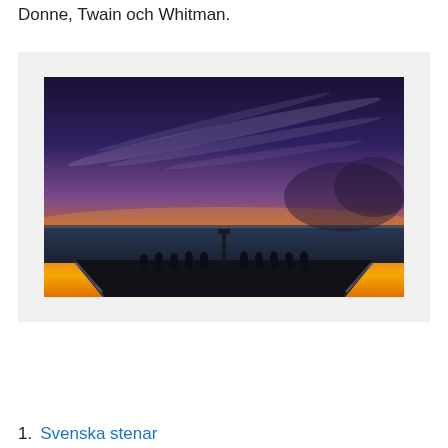Donne, Twain och Whitman.
[Figure (photo): Sunset photo taken from a pier. Silhouettes of people standing on the pier are visible against a vivid orange and purple sunset sky over water.]
1. Svenska stenar